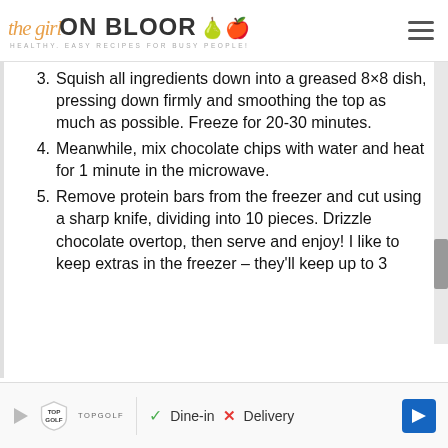the girl ON BLOOR – Healthy. Easy Recipes for Busy People!
3. Squish all ingredients down into a greased 8×8 dish, pressing down firmly and smoothing the top as much as possible. Freeze for 20-30 minutes.
4. Meanwhile, mix chocolate chips with water and heat for 1 minute in the microwave.
5. Remove protein bars from the freezer and cut using a sharp knife, dividing into 10 pieces. Drizzle chocolate overtop, then serve and enjoy! I like to keep extras in the freezer – they'll keep up to 3
[Figure (other): Advertisement banner for TopGolf showing Dine-in and Delivery options with navigation arrow icon]